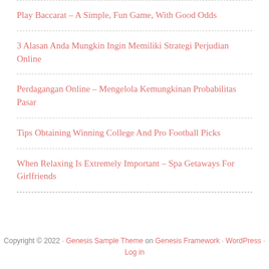Play Baccarat – A Simple, Fun Game, With Good Odds
3 Alasan Anda Mungkin Ingin Memiliki Strategi Perjudian Online
Perdagangan Online – Mengelola Kemungkinan Probabilitas Pasar
Tips Obtaining Winning College And Pro Football Picks
When Relaxing Is Extremely Important – Spa Getaways For Girlfriends
Copyright © 2022 · Genesis Sample Theme on Genesis Framework · WordPress · Log in